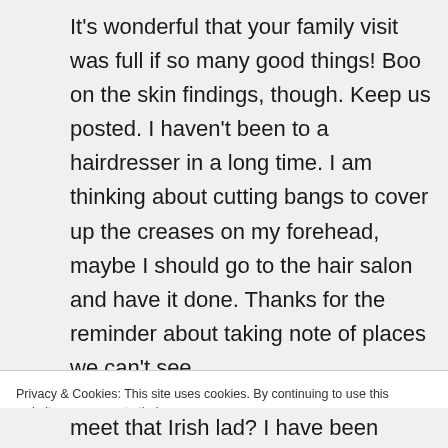It's wonderful that your family visit was full if so many good things! Boo on the skin findings, though. Keep us posted. I haven't been to a hairdresser in a long time. I am thinking about cutting bangs to cover up the creases on my forehead, maybe I should go to the hair salon and have it done. Thanks for the reminder about taking note of places we can't see.
Privacy & Cookies: This site uses cookies. By continuing to use this website, you agree to their use.
To find out more, including how to control cookies, see here: Cookie Policy
Close and accept
meet that Irish lad? I have been